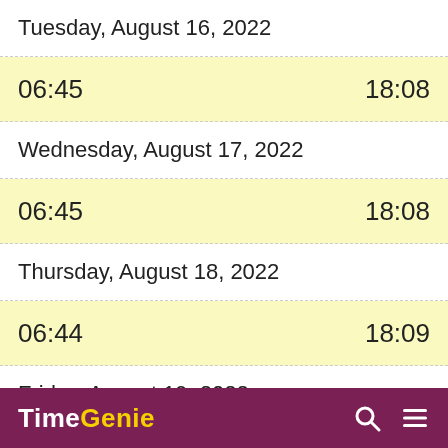Tuesday, August 16, 2022
06:45    18:08
Wednesday, August 17, 2022
06:45    18:08
Thursday, August 18, 2022
06:44    18:09
Friday, August 19, 2022
06:43    18:09
TimeGenie